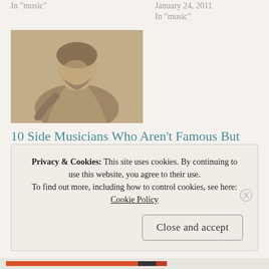In "music"
January 24, 2011
In "music"
[Figure (photo): Black and white sepia-toned photograph of a bearded man leaning forward, wearing a light jacket, with a blurred background.]
10 Side Musicians Who Aren't Famous But Should Be
March 14, 2013
In "Jazz"
Privacy & Cookies: This site uses cookies. By continuing to use this website, you agree to their use.
To find out more, including how to control cookies, see here: Cookie Policy
Close and accept